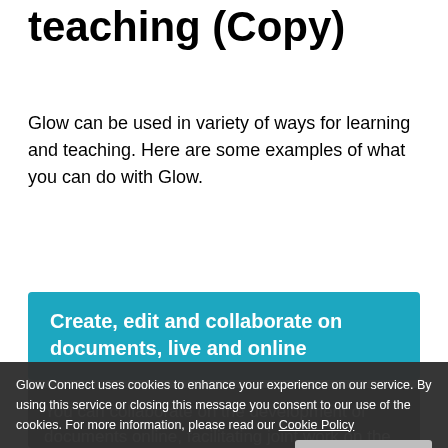teaching (Copy)
Glow can be used in variety of ways for learning and teaching. Here are some examples of what you can do with Glow.
Create, edit and collaborate on documents, live and online
You can collaborate on the development of documents online, facilitating joint work on the same or similar projects, allowing for faster more real-time learning. Common spaces are available for gathering and storing information on a subject or work from a
Glow Connect uses cookies to enhance your experience on our service. By using this service or closing this message you consent to our use of the cookies. For more information, please read our Cookie Policy
Close and Accept